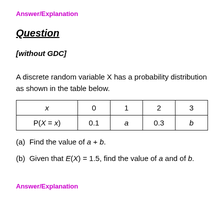Answer/Explanation
Question
[without GDC]
A discrete random variable X has a probability distribution as shown in the table below.
| x | 0 | 1 | 2 | 3 |
| --- | --- | --- | --- | --- |
| P(X=x) | 0.1 | a | 0.3 | b |
(a)  Find the value of a + b.
(b)  Given that E(X) = 1.5, find the value of a and of b.
Answer/Explanation